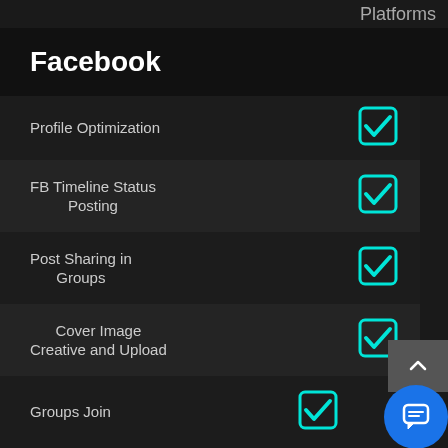Platforms
Facebook
Profile Optimization ✓
FB Timeline Status Posting ✓
Post Sharing in Groups ✓
Cover Image Creative and Upload ✓
Groups Join ✓
Group Creation ✓
Targeted Page Likes ✓